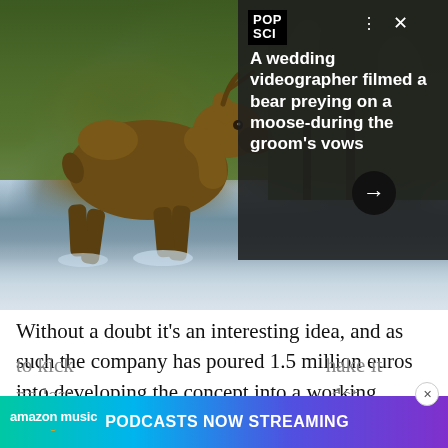[Figure (photo): A moose running through shallow water with green forest background, seen in a wildlife/nature photo.]
A wedding videographer filmed a bear preying on a moose-during the groom's vows
Without a doubt it's an interesting idea, and as such the company has poured 1.5 million euros into developing the concept into a working prototype. According to the company, solar panels on the roof could deliver enough power to propel a single three-seater 12.5 miles before the other power source needs to kick [in] ... [make it] no less ... dot
[Figure (infographic): Amazon Music advertisement banner: PODCASTS NOW STREAMING]